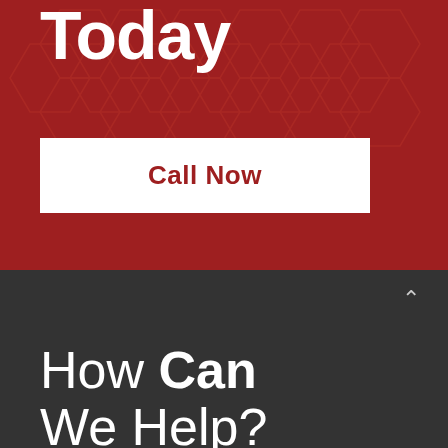Today
Call Now
How Can We Help?